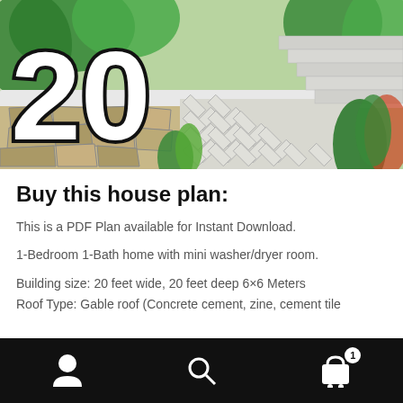[Figure (photo): Top portion of a house plan rendering showing a brick/stone paved pathway, concrete steps on the right, tropical foliage, and a large '20' number graphic on the left side]
Buy this house plan:
This is a PDF Plan available for Instant Download.
1-Bedroom 1-Bath home with mini washer/dryer room.
Building size: 20 feet wide, 20 feet deep 6×6 Meters
Roof Type: Gable roof (Concrete cement, zine, cement tile
Navigation bar with account, search, and cart (1 item) icons